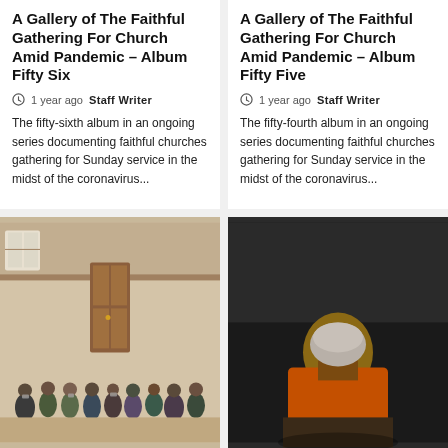A Gallery of The Faithful Gathering For Church Amid Pandemic – Album Fifty Six
1 year ago  Staff Writer
The fifty-sixth album in an ongoing series documenting faithful churches gathering for Sunday service in the midst of the coronavirus...
A Gallery of The Faithful Gathering For Church Amid Pandemic – Album Fifty Five
1 year ago  Staff Writer
The fifty-fourth album in an ongoing series documenting faithful churches gathering for Sunday service in the midst of the coronavirus...
[Figure (photo): Interior of a church with a group of people standing, some wearing masks, in a well-lit hall with wooden door and balcony visible]
[Figure (photo): Dark background with an elderly person seen from behind wearing an orange jacket]